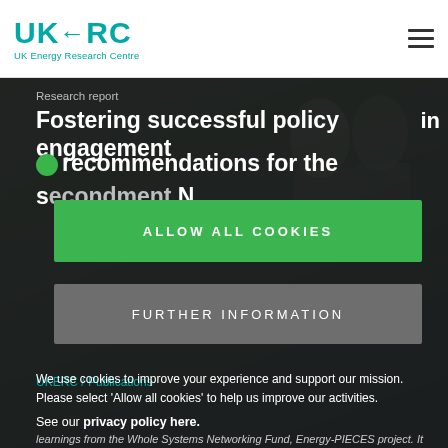UKERC – UK Energy Research Centre
[Figure (photo): Background photo of people in a meeting/discussion setting, with green tones]
Research report
Fostering successful policy engagement in recommendations for the secondments Network
ALLOW ALL COOKIES
FURTHER INFORMATION
We use cookies to improve your experience and support our mission. Please select 'Allow all cookies' to help us improve our activities.
See our privacy policy here.
learnings from the Whole Systems Networking Fund, Energy-PIECES project. It makes recommendations about how to successfully organise, manage and communicate secondments with a range of